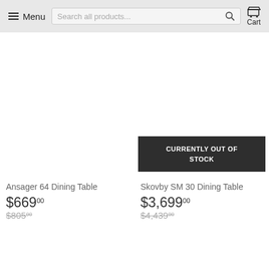Menu | Search all products... | Cart
Ansager 64 Dining Table
$669.00 $805.00
CURRENTLY OUT OF STOCK
Skovby SM 30 Dining Table
$3,699.00 $4,439.00